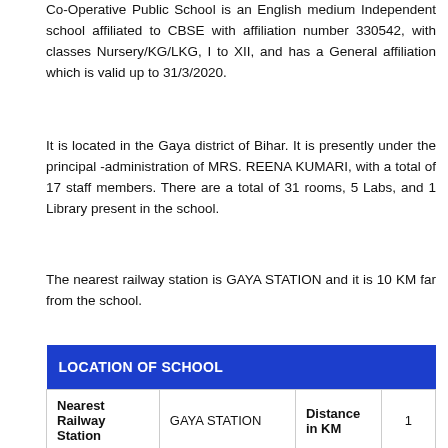Co-Operative Public School is an English medium Independent school affiliated to CBSE with affiliation number 330542, with classes Nursery/KG/LKG, I to XII, and has a General affiliation which is valid up to 31/3/2020.
It is located in the Gaya district of Bihar. It is presently under the principal -administration of MRS. REENA KUMARI, with a total of 17 staff members. There are a total of 31 rooms, 5 Labs, and 1 Library present in the school.
The nearest railway station is GAYA STATION and it is 10 KM far from the school.
| LOCATION OF SCHOOL |  |  |  |
| --- | --- | --- | --- |
| Nearest Railway Station | GAYA STATION | Distance in KM | 1 |
| Nearest Police | GAYA STATIONMAGADH | Distance | 8 |